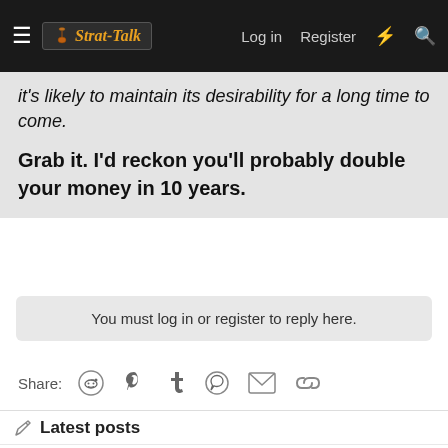Strat-Talk | Log in | Register
it's likely to maintain its desirability for a long time to come.
Grab it. I'd reckon you'll probably double your money in 10 years.
You must log in or register to reply here.
Share:
Latest posts
My first stomp box purchase in 40 years (NPD)
Latest: rolandson · 6 minutes ago
The Effect effect
changing 500k V pot to 250k on HH strat...
Latest: Hal Nico · 29 minutes ago
Stratocaster Discussion Forum
Help IDing guitar, no serial number but Artist signature.